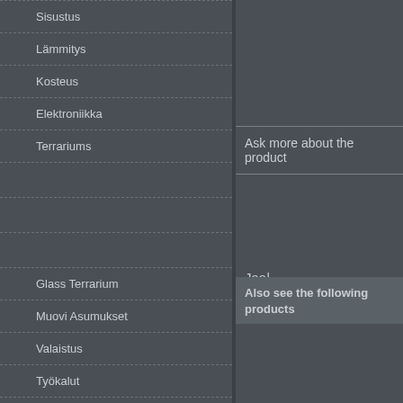Sisustus
Lämmitys
Kosteus
Elektroniikka
Terrariums
Glass Terrarium
Muovi Asumukset
Valaistus
Työkalut
Tee se itse
Ask more about the product
Jaa|
Also see the following products